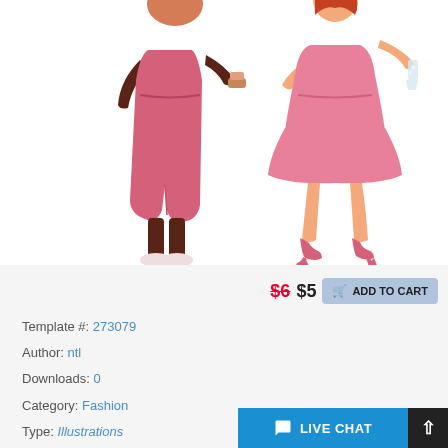[Figure (illustration): Two women in pink outfits. Left figure: dark-skinned woman in a long pink dress/coat, facing right, holding something. Right figure: fair-skinned woman with red hair in a short pink dress holding a glass, wearing pink heels.]
$6 $5 ADD TO CART
Template #: 273079
Author: ntl
Downloads: 0
Category: Fashion
Type: Illustrations
LIVE CHAT